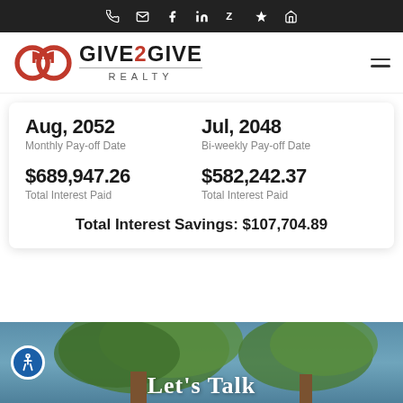Navigation bar with phone, email, facebook, linkedin, zillow, yelp, and house icons
[Figure (logo): Give2Give Realty logo — red G-to-G graphic mark with GIVE2GIVE REALTY wordmark]
| Monthly | Bi-weekly |
| --- | --- |
| Aug, 2052 | Jul, 2048 |
| Monthly Pay-off Date | Bi-weekly Pay-off Date |
| $689,947.26 | $582,242.37 |
| Total Interest Paid | Total Interest Paid |
Total Interest Savings: $107,704.89
[Figure (photo): Outdoor photo of large tree against blue sky with 'Let's Talk' text overlay]